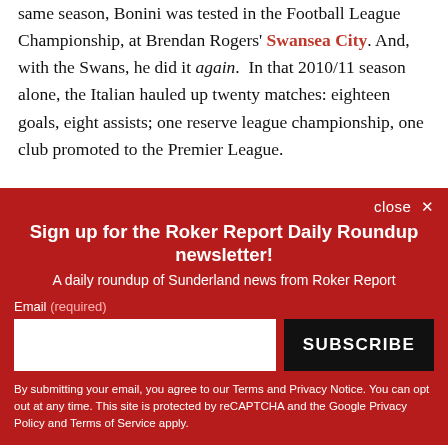same season, Bonini was tested in the Football League Championship, at Brendan Rogers' Swansea City. And, with the Swans, he did it again. In that 2010/11 season alone, the Italian hauled up twenty matches: eighteen goals, eight assists; one reserve league championship, one club promoted to the Premier League.
Sign up for the Roker Report Daily Roundup newsletter! A daily roundup of Sunderland news from Roker Report. Email (required). By submitting your email, you agree to our Terms and Privacy Notice. You can opt out at any time. This site is protected by reCAPTCHA and the Google Privacy Policy and Terms of Service apply.